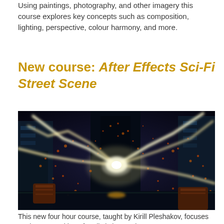Using paintings, photography, and other imagery this course explores key concepts such as composition, lighting, perspective, colour harmony, and more.
New course: After Effects Sci-Fi Street Scene
[Figure (photo): A dramatic sci-fi street scene rendered in Adobe After Effects showing bright electric lightning bolts and orange sparks flying across a dark futuristic alleyway.]
This new four hour course, taught by Kirill Pleshakov, focuses on the composition of realistic interactive content...